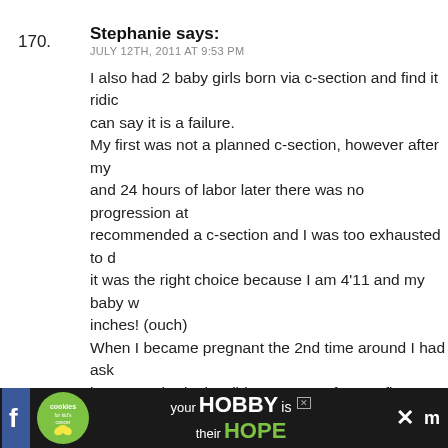170. Stephanie says:
JULY 12TH, 2011 AT 9:53 PM

I also had 2 baby girls born via c-section and find it ridic can say it is a failure.
My first was not a planned c-section, however after my and 24 hours of labor later there was no progression at recommended a c-section and I was too exhausted to d it was the right choice because I am 4'11 and my baby w inches! (ouch)
When I became pregnant the 2nd time around I had ask because I had a horrible recovery after my first pregnan the option to try it. My doctor agreed until we discover my 2nd daughter was probably over 10lbs. So we schec Baby number 2 came at 39 weeks at 10lbs 10 oz and 22 4'11. I carried these gigantic beautiful girls for 9 months how they came into this world – there was nothing abo that anyone can call a failure. Give other moms a break.
[Figure (infographic): Advertisement banner: cookies for kid's cancer logo with text 'your HOBBY is their HOPE']